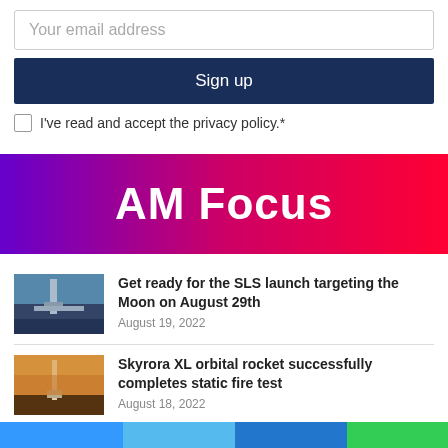Your email address
Sign up
I've read and accept the privacy policy.*
AM Focus
Get ready for the SLS launch targeting the Moon on August 29th
August 19, 2022
Skyrora XL orbital rocket successfully completes static fire test
August 18, 2022